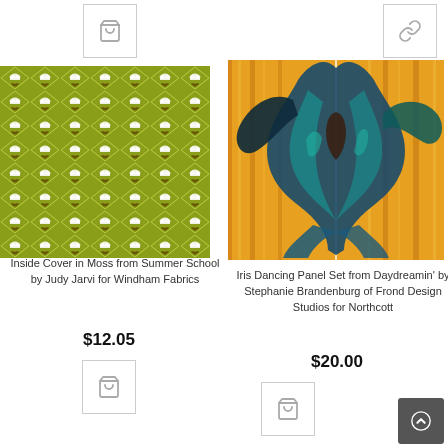[Figure (screenshot): Shopping page showing two fabric/art products with add-to-cart buttons, product images, titles, and prices.]
[Figure (photo): Green geometric patterned fabric - Inside Cover in Moss from Summer School by Judy Jarvi for Windham Fabrics]
Inside Cover in Moss from Summer School by Judy Jarvi for Windham Fabrics
$12.05
[Figure (photo): Iris Dancing Panel Set - colorful painting of iris flower on orange/yellow background - Daydreamin' by Stephanie Brandenburg of Frond Design Studios for Northcott]
Iris Dancing Panel Set from Daydreamin' by Stephanie Brandenburg of Frond Design Studios for Northcott
$20.00